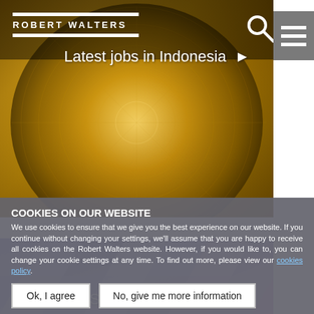[Figure (photo): Robert Walters website screenshot showing header with logo, search icon, hamburger menu, and banner image of golden architecture interior with 'Latest jobs in Indonesia' text overlay, followed by a purple/blue architectural facade image with 'Salary Survey 2022' text, and a cookie consent overlay and buttons.]
COOKIES ON OUR WEBSITE
We use cookies to ensure that we give you the best experience on our website. If you continue without changing your settings, we'll assume that you are happy to receive all cookies on the Robert Walters website. However, if you would like to, you can change your cookie settings at any time. To find out more, please view our cookies policy.
Ok, I agree
No, give me more information